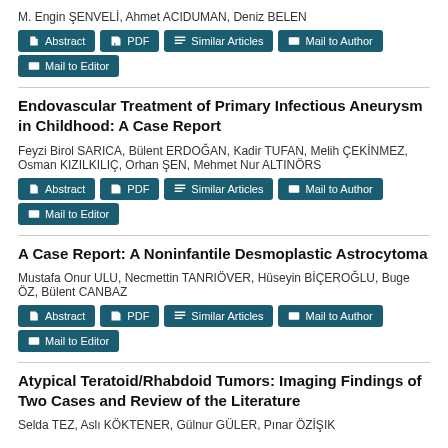M. Engin ŞENVELİ, Ahmet ACIDUMAN, Deniz BELEN
Abstract | PDF | Similar Articles | Mail to Author | Mail to Editor
Endovascular Treatment of Primary Infectious Aneurysm in Childhood: A Case Report
Feyzi Birol SARICA, Bülent ERDOĞAN, Kadir TUFAN, Melih ÇEKİNMEZ, Osman KIZILKILIÇ, Orhan ŞEN, Mehmet Nur ALTINÖRS
Abstract | PDF | Similar Articles | Mail to Author | Mail to Editor
A Case Report: A Noninfantile Desmoplastic Astrocytoma
Mustafa Onur ULU, Necmettin TANRIÖVER, Hüseyin BİÇEROĞLU, Buge ÖZ, Bülent CANBAZ
Abstract | PDF | Similar Articles | Mail to Author | Mail to Editor
Atypical Teratoid/Rhabdoid Tumors: Imaging Findings of Two Cases and Review of the Literature
Selda TEZ, Aslı KÖKTENER, Gülnur GÜLER, Pınar ÖZİŞIK